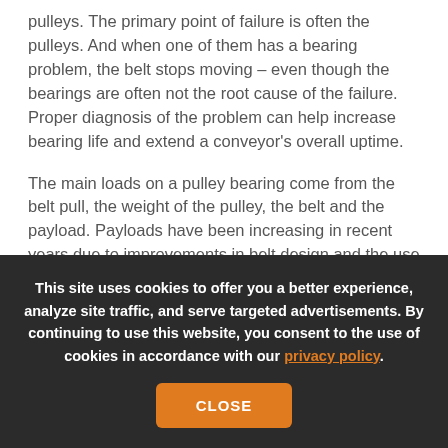pulleys. The primary point of failure is often the pulleys. And when one of them has a bearing problem, the belt stops moving – even though the bearings are often not the root cause of the failure. Proper diagnosis of the problem can help increase bearing life and extend a conveyor's overall uptime.
The main loads on a pulley bearing come from the belt pull, the weight of the pulley, the belt and the payload. Payloads have been increasing in recent years due to improvements in belt design and the use of stronger materials. There may also be a small thrust load originating from the belt, riding against the lateral belt guide rollers. In the case of a belt track problem, the common solution is to mount fixed bearings on both ends of the
This site uses cookies to offer you a better experience, analyze site traffic, and serve targeted advertisements. By continuing to use this website, you consent to the use of cookies in accordance with our privacy policy.
CLOSE